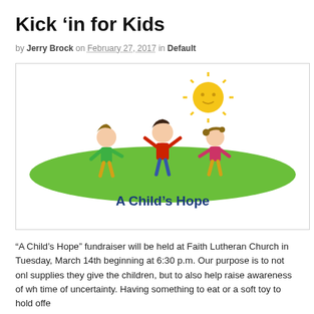Kick ‘in for Kids
by Jerry Brock on February 27, 2017 in Default
[Figure (illustration): A Child's Hope logo: cartoon children playing under a sun on a green hill, with text 'A Child's Hope' below in blue bold font]
“A Child’s Hope” fundraiser will be held at Faith Lutheran Church in Tuesday, March 14th beginning at 6:30 p.m. Our purpose is to not onl supplies they give the children, but to also help raise awareness of wh time of uncertainty. Having something to eat or a soft toy to hold offe
The dinner will also be a way for the project volunteers to say Thank with through Children’s Protective Services of the Pasco and Pinellas These individuals work daily placing children in foster homes for thei have been invited as featured speakers.